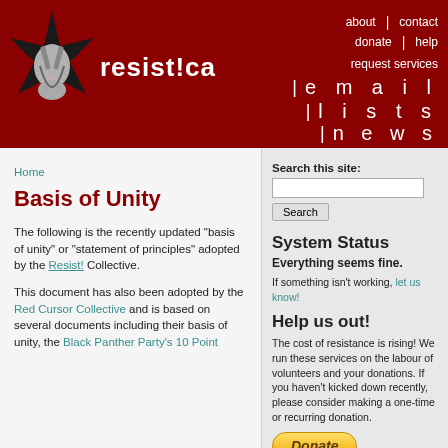resist!ca — about | contact | donate | help | request services | email lists | news
Home
Basis of Unity
The following is the recently updated "basis of unity" or "statement of principles" adopted by the Resist! Collective.
This document has also been adopted by the Red Cursor Collective and is based on several documents including their basis of unity, the Black Panther Party's 10 Point
Search this site:
System Status
Everything seems fine.
If something isn't working, let us know!
Help us out!
The cost of resistance is rising! We run these services on the labour of volunteers and your donations. If you haven't kicked down recently, please consider making a one-time or recurring donation.
Donate